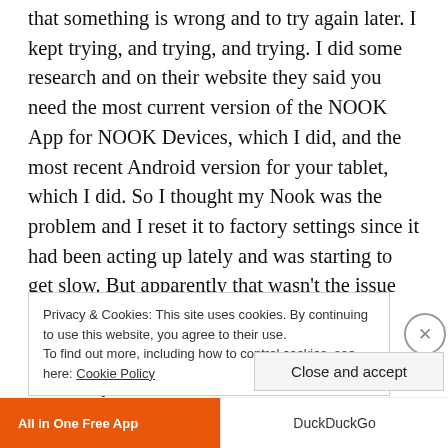that something is wrong and to try again later. I kept trying, and trying, and trying. I did some research and on their website they said you need the most current version of the NOOK App for NOOK Devices, which I did, and the most recent Android version for your tablet, which I did. So I thought my Nook was the problem and I reset it to factory settings since it had been acting up lately and was starting to get slow. But apparently that wasn't the issue because it's on the Nook servers end. According to Good E Reader, “ The entire system has crashed and it won't be fixed for a couple of days.”
Privacy & Cookies: This site uses cookies. By continuing to use this website, you agree to their use.
To find out more, including how to control cookies, see here: Cookie Policy
Close and accept
[Figure (screenshot): Advertisement bar at the bottom with orange 'All in One Free App' section and DuckDuckGo branding]